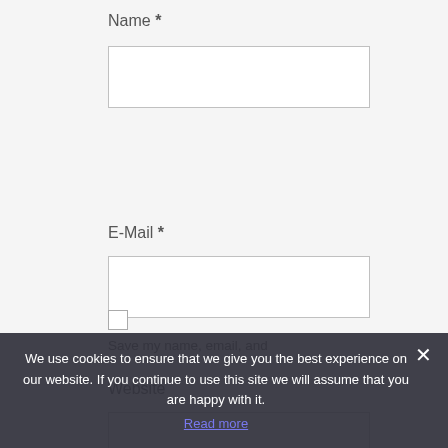Name *
[Figure (screenshot): Empty text input field for Name]
E-Mail *
[Figure (screenshot): Empty text input field for E-Mail]
Website
[Figure (screenshot): Empty text input field for Website]
[Figure (screenshot): Checkbox (unchecked)]
Save my name, email, and
next time I comment.
We use cookies to ensure that we give you the best experience on our website. If you continue to use this site we will assume that you are happy with it.